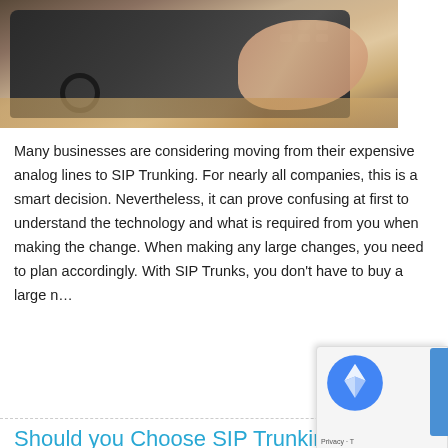[Figure (photo): Photo of a person's hand pressing buttons on a dark desk phone, placed on a wooden surface. The phone is black/dark gray.]
Many businesses are considering moving from their expensive analog lines to SIP Trunking. For nearly all companies, this is a smart decision. Nevertheless, it can prove confusing at first to understand the technology and what is required from you when making the change. When making any large changes, you need to plan accordingly. With SIP Trunks, you don't have to buy a large n…
Should you Choose SIP Trunking or a...